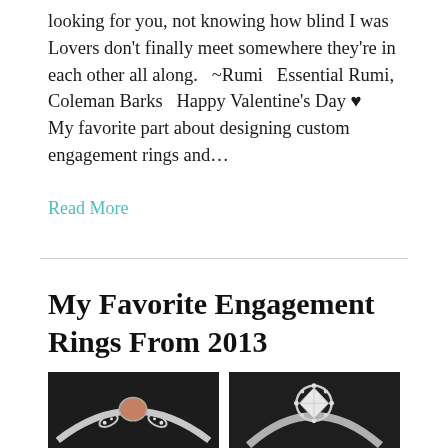looking for you, not knowing how blind I was Lovers don't finally meet somewhere they're in each other all along.   ~Rumi   Essential Rumi, Coleman Barks   Happy Valentine's Day ♥   My favorite part about designing custom engagement rings and...
Read More
My Favorite Engagement Rings From 2013
[Figure (photo): Photo of a white gold engagement ring with an orange/brown rough diamond center stone and leaf-shaped diamond side stones on a dark background]
[Figure (photo): Photo of a white gold solitaire engagement ring with a round brilliant diamond in a halo setting on a dark background]